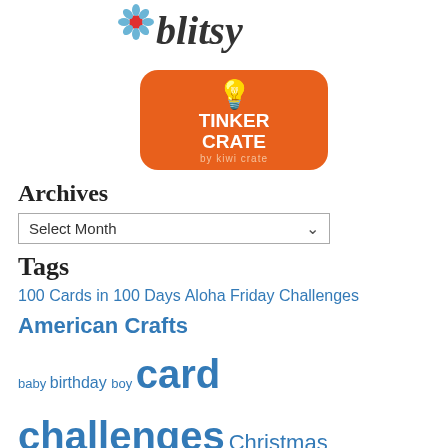[Figure (logo): Blitsy logo with decorative flower and dot]
[Figure (logo): Tinker Crate by Kiwi Crate orange rounded square logo with lightbulb]
Archives
Select Month
Tags
100 Cards in 100 Days Aloha Friday Challenges American Crafts baby birthday boy card challenges Christmas Christmas Card Challenge Crafting with Dragonflies Crafty Sentiments Designs CutCardStock.com DT Eyelet Outlet Faery Ink girly halloween hello HIMCR kids Kinda Cute by Patricia Kindred Stamps Kitty Bee
June 24th, 2013 | Tags: American Crafts, ca... Impressions, Lady Anne's, Make It Monday... With the Dragon, Studio Calico | Category:
SU! Love
I almost never use SU! products exclusively so much crap in here that I don't limit mysel... was so perfect I couldn't NOT […]
June 17th, 2013 | Tags: American Crafts, ca...
Super Bun! w/KBD
Challenge #1 is live over at Kitty Bee Desig... masculine/for Father's Day. I hope you can c... of time to get something done for this challe:
[…]
June 7th, 2013 | Tags: Aloha Friday Challen... Designs, masculine | Category: Uncategoriz...